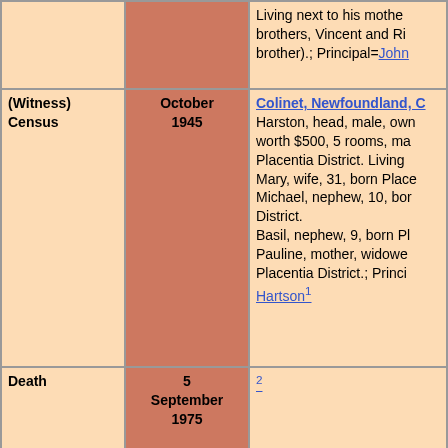| Type | Date | Details |
| --- | --- | --- |
|  |  | Living next to his mother brothers, Vincent and Richard (brother).; Principal=John... |
| (Witness) Census | October 1945 | Colinet, Newfoundland, C... Harston, head, male, own worth $500, 5 rooms, ma... Placentia District. Living... Mary, wife, 31, born Place... Michael, nephew, 10, bor... District. Basil, nephew, 9, born Pl... Pauline, mother, widowed Placentia District.; Princi... Hartson¹ |
| Death | 5 September 1975 | 2 |
| Burial | September 1975 | Colinet Catholic Cemetery, Greater Colinet Island, Newfoundland, Canada² [photo of gravestone] |